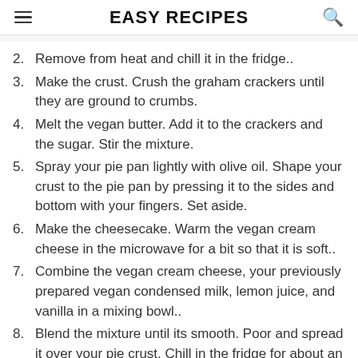EASY RECIPES
2. Remove from heat and chill it in the fridge..
3. Make the crust. Crush the graham crackers until they are ground to crumbs.
4. Melt the vegan butter. Add it to the crackers and the sugar. Stir the mixture.
5. Spray your pie pan lightly with olive oil. Shape your crust to the pie pan by pressing it to the sides and bottom with your fingers. Set aside.
6. Make the cheesecake. Warm the vegan cream cheese in the microwave for a bit so that it is soft..
7. Combine the vegan cream cheese, your previously prepared vegan condensed milk, lemon juice, and vanilla in a mixing bowl..
8. Blend the mixture until its smooth. Poor and spread it over your pie crust. Chill in the fridge for about an hour or so until it sets up and firms a bit.